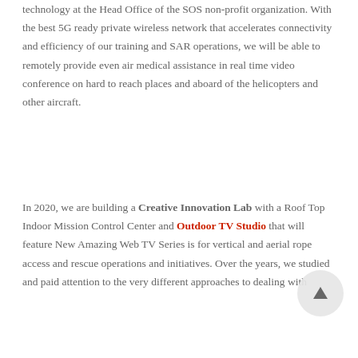technology at the Head Office of the SOS non-profit organization. With the best 5G ready private wireless network that accelerates connectivity and efficiency of our training and SAR operations, we will be able to remotely provide even air medical assistance in real time video conference on hard to reach places and aboard of the helicopters and other aircraft.
In 2020, we are building a Creative Innovation Lab with a Roof Top Indoor Mission Control Center and Outdoor TV Studio that will feature New Amazing Web TV Series is for vertical and aerial rope access and rescue operations and initiatives. Over the years, we studied and paid attention to the very different approaches to dealing with